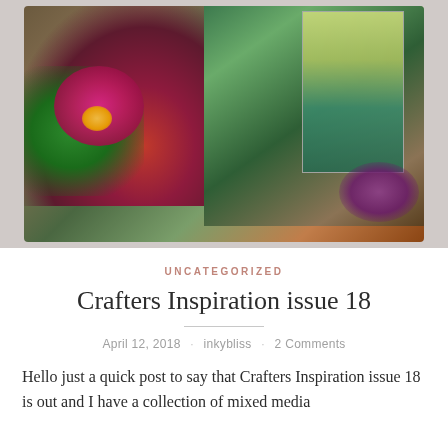[Figure (photo): A craft photo showing a decorative wooden box painted in earthy greens and browns, filled with handmade paper flowers in pink, purple, red and magenta tones with green leaves and small white fillers. A turquoise and cream embossed card/book is visible inside the box. Purple flowers are in the bottom right corner.]
UNCATEGORIZED
Crafters Inspiration issue 18
April 12, 2018 · inkybliss · 2 Comments
Hello just a quick post to say that Crafters Inspiration issue 18 is out and I have a collection of mixed media